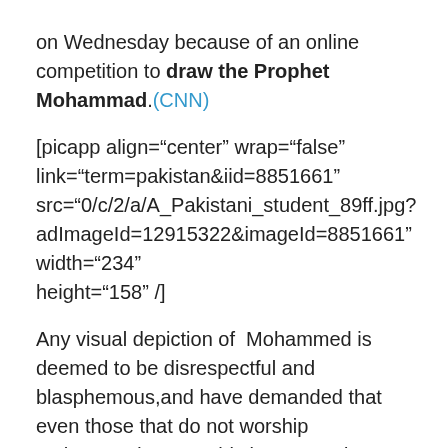on Wednesday because of an online competition to draw the Prophet Mohammad.(CNN)
[picapp align="center" wrap="false" link="term=pakistan&iid=8851661" src="0/c/2/a/A_Pakistani_student_89ff.jpg?adImageId=12915322&imageId=8851661" width="234" height="158" /]
Any visual depiction of  Mohammed is deemed to be disrespectful and blasphemous,and have demanded that even those that do not worship Mohammed respect his image, and because they are vocal in their objections of Mohammed’s portrayal,many in the western find this an irresistible target to ridicule,malign,and disrespect.
The misguided protest encourages artist and cartoonist